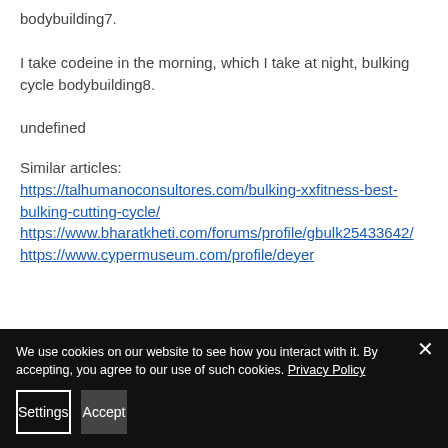bodybuilding7.
I take codeine in the morning, which I take at night, bulking cycle bodybuilding8.
undefined
Similar articles:
https://talhumanoconsultores.com/bulking-xxfitness-best-bulking-cutting-cycle/
https://www.bharatkheti.com/forums/profile/gbulk25433642/
https://www.cypermuseum.com/profile/deyer...
We use cookies on our website to see how you interact with it. By accepting, you agree to our use of such cookies. Privacy Policy
Settings
Accept